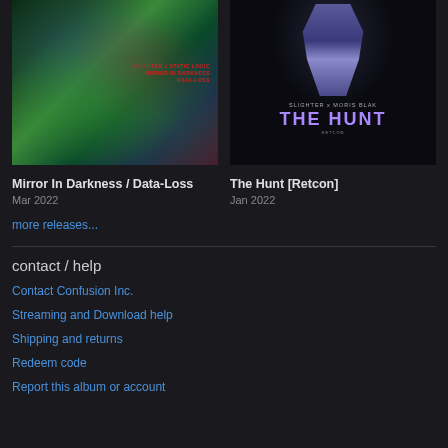[Figure (illustration): Album cover for Mirror In Darkness / Data-Loss — dark swirling psychedelic green, red, blue abstract art with red text overlay reading SLIGHTER x STATIC LOGIC]
Mirror In Darkness / Data-Loss
Mar 2022
[Figure (illustration): Album cover for The Hunt [Retcon] — dark background with purple/blue gloved hand holding knives, text reads SLIGHTER x MORIS BLAK / THE HUNT / RETCON]
The Hunt [Retcon]
Jan 2022
more releases...
contact / help
Contact Confusion Inc.
Streaming and Download help
Shipping and returns
Redeem code
Report this album or account